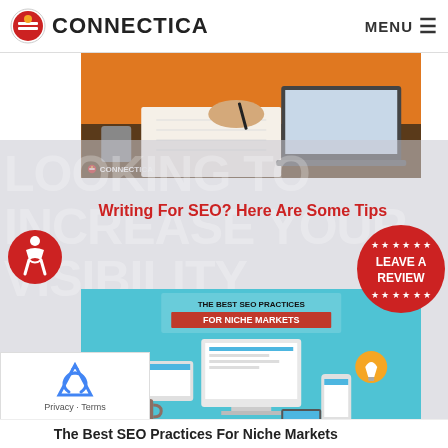CONNECTICA | MENU
[Figure (photo): Person writing in notebook with laptop in background, orange wall visible, Connectica watermark]
Writing For SEO? Here Are Some Tips
[Figure (infographic): SEO infographic: THE BEST SEO PRACTICES FOR NICHE MARKETS, showing devices with SEO graphics, Connectica watermark]
Contact your local experts to see how we can get you to the first page.
The Best SEO Practices For Niche Markets